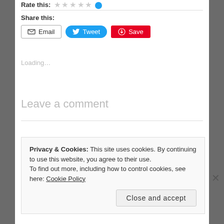Rate this:
Share this:
[Figure (screenshot): Email, Tweet, and Save share buttons]
Loading...
Leave a comment
Privacy & Cookies: This site uses cookies. By continuing to use this website, you agree to their use.
To find out more, including how to control cookies, see here: Cookie Policy
Close and accept